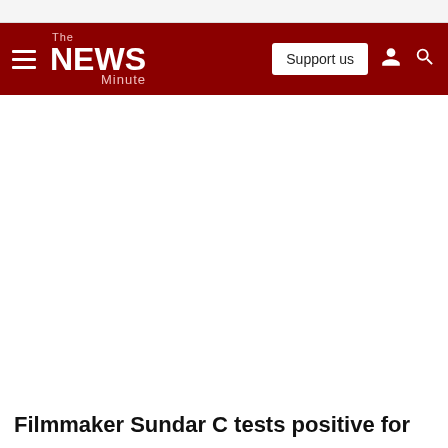The News Minute
Filmmaker Sundar C tests positive for